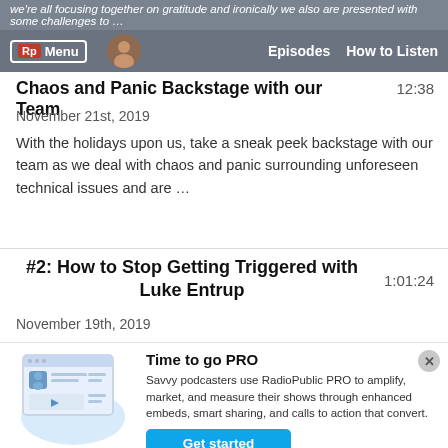we're all focusing together on gratitude and ironically we also are presented with some challenges to …
Rp Menu | Episodes | How to Listen
Chaos and Panic Backstage with our Team
November 21st, 2019    12:38
With the holidays upon us, take a sneak peek backstage with our team as we deal with chaos and panic surrounding unforeseen technical issues and are …
#2: How to Stop Getting Triggered with Luke Entrup
November 19th, 2019    1:01:24
Time to go PRO
Savvy podcasters use RadioPublic PRO to amplify, market, and measure their shows through enhanced embeds, smart sharing, and calls to action that convert.
Get started